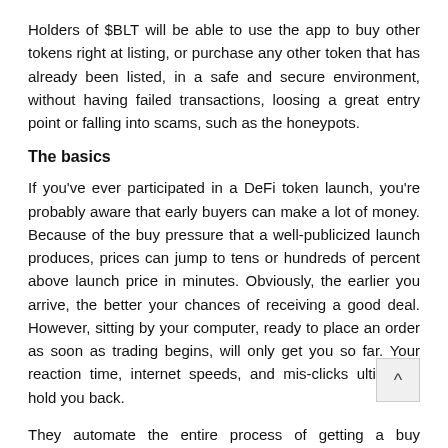Holders of $BLT will be able to use the app to buy other tokens right at listing, or purchase any other token that has already been listed, in a safe and secure environment, without having failed transactions, loosing a great entry point or falling into scams, such as the honeypots.
The basics
If you've ever participated in a DeFi token launch, you're probably aware that early buyers can make a lot of money. Because of the buy pressure that a well-publicized launch produces, prices can jump to tens or hundreds of percent above launch price in minutes. Obviously, the earlier you arrive, the better your chances of receiving a good deal. However, sitting by your computer, ready to place an order as soon as trading begins, will only get you so far. Your reaction time, internet speeds, and mis-clicks ultimately hold you back.
They automate the entire process of getting a buy in early as possible, while keeping you assets safe!